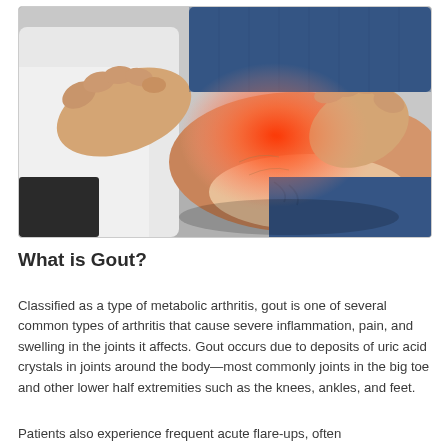[Figure (photo): Close-up photo of a medical professional examining a patient's ankle/heel area. The ankle is highlighted with a red glow indicating inflammation or pain. The doctor's hands are holding the foot, and the patient is wearing jeans.]
What is Gout?
Classified as a type of metabolic arthritis, gout is one of several common types of arthritis that cause severe inflammation, pain, and swelling in the joints it affects. Gout occurs due to deposits of uric acid crystals in joints around the body—most commonly joints in the big toe and other lower half extremities such as the knees, ankles, and feet.
Patients also experience frequent acute flare-ups, often...